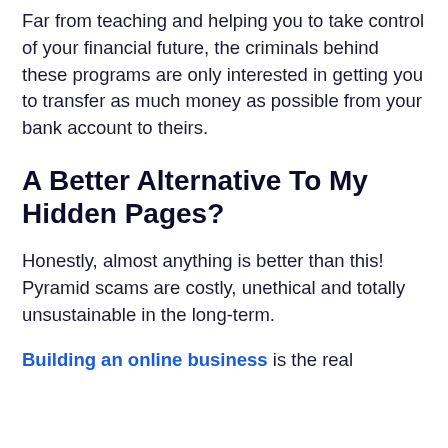Far from teaching and helping you to take control of your financial future, the criminals behind these programs are only interested in getting you to transfer as much money as possible from your bank account to theirs.
A Better Alternative To My Hidden Pages?
Honestly, almost anything is better than this! Pyramid scams are costly, unethical and totally unsustainable in the long-term.
Building an online business is the real